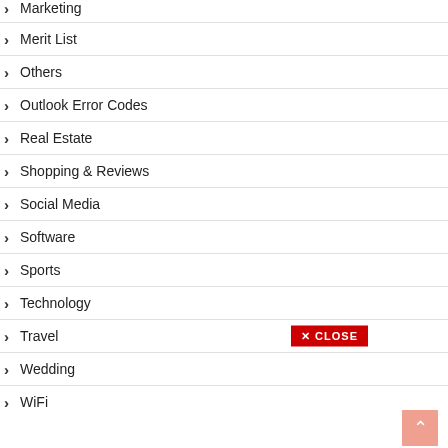Marketing
Merit List
Others
Outlook Error Codes
Real Estate
Shopping & Reviews
Social Media
Software
Sports
Technology
Travel
Wedding
WiFi